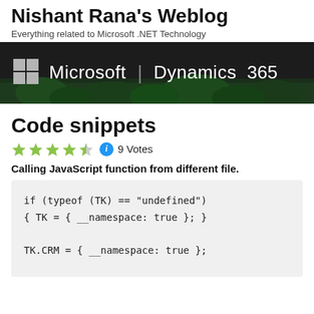Nishant Rana's Weblog
Everything related to Microsoft .NET Technology
[Figure (screenshot): Microsoft Dynamics 365 banner with dark background and green foliage at bottom]
Code snippets
★★★★½ ℹ 9 Votes
Calling JavaScript function from different file.
if (typeof (TK) == "undefined")
{ TK = { __namespace: true }; }

TK.CRM = { __namespace: true };